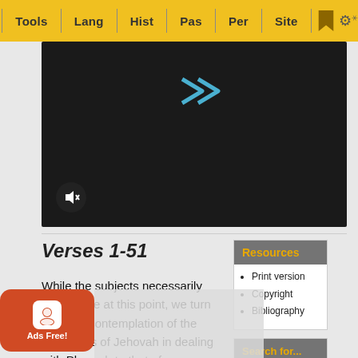Tools | Lang | Hist | Pas | Per | Site
[Figure (screenshot): Dark video player area with a logo icon and mute button]
Verses 1-51
While the subjects necessarily intermingle at this point, we turn from the contemplation of the judgments of Jehovah in dealing with Pharaoh to that of [perseve]rance in His dealings with [Isra]el. As these people were now to pas[s into a time of] const[ant change], altere[d circumstances]...
Resources
Print version
Copyright
Bibliography
Search for...